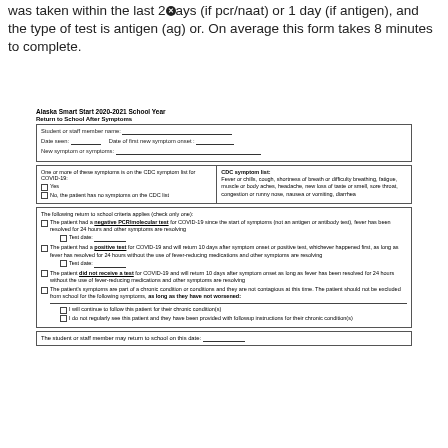was taken within the last 2days (if pcr/naat) or 1 day (if antigen), and the type of test is antigen (ag) or. On average this form takes 8 minutes to complete.
| Student or staff member name: ___________________________ |
| Date seen: ___/___/___________   Date of first new symptom onset : ___/___/___________ |
| New symptom or symptoms: ___________________________________________ |
| One or more of these symptoms is on the CDC symptom list for COVID-19: | CDC symptom list: |
| --- | --- |
| Yes | Fever or chills, cough, shortness of breath or difficulty breathing, fatigue, muscle or body aches, headache, new loss of taste or smell, sore throat, congestion or runny nose, nausea or vomiting, diarrhea |
| No, the patient has no symptoms on the CDC list |  |
The following return to school criteria applies (check only one): The patient had a negative PCR/molecular test for COVID-19 since the start of symptoms (not an antigen or antibody test), fever has been resolved for 24 hours and other symptoms are resolving. Test date: ___/___/___________. The patient had a positive test for COVID-19 and will return 10 days after symptom onset or positive test, whichever happened first, as long as fever has resolved for 24 hours without the use of fever-reducing medications and other symptoms are resolving. Test date: ___/___/___________. The patient did not receive a test for COVID-19 and will return 10 days after symptom onset as long as fever has been resolved for 24 hours without the use of fever-reducing medications and other symptoms are resolving. The patient's symptoms are part of a chronic condition or conditions and they are not contagious at this time. The patient should not be excluded from school for the following symptoms, as long as they have not worsened: I will continue to follow this patient for their chronic condition(s). I do not regularly see this patient and they have been provided with followup instructions for their chronic condition(s).
The student or staff member may return to school on this date: ___/___/___________